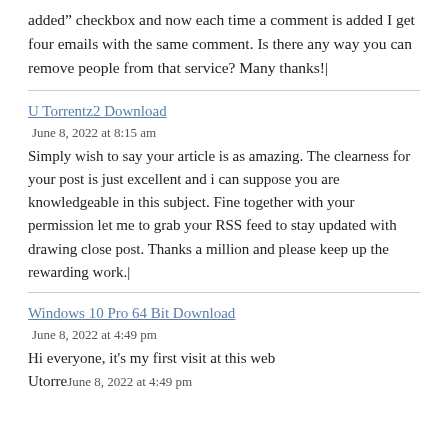added" checkbox and now each time a comment is added I get four emails with the same comment. Is there any way you can remove people from that service? Many thanks!|
U Torrentz2 Download
June 8, 2022 at 8:15 am
Simply wish to say your article is as amazing. The clearness for your post is just excellent and i can suppose you are knowledgeable in this subject. Fine together with your permission let me to grab your RSS feed to stay updated with drawing close post. Thanks a million and please keep up the rewarding work.|
Windows 10 Pro 64 Bit Download
June 8, 2022 at 4:49 pm
Hi everyone, it's my first visit at this web
Utorre...